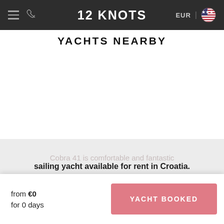12 KNOTS — EUR | [US flag]
YACHTS NEARBY
Cobra 41 is comfortable and fantastic sailing yacht available for rent in Croatia.
from €0
for 0 days
YACHT BOOKED